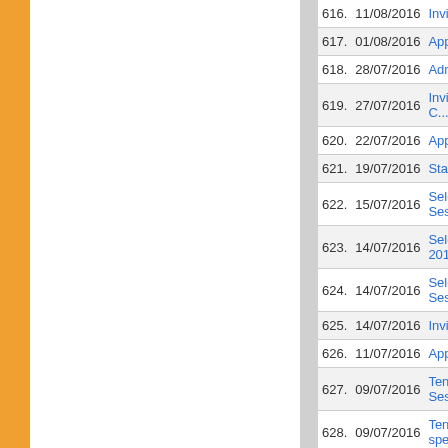| No. | Date | Title |
| --- | --- | --- |
| 616. | 11/08/2016 | Invitation lett... |
| 617. | 01/08/2016 | Appointment... |
| 618. | 28/07/2016 | Admission N... |
| 619. | 27/07/2016 | Invitation of C... |
| 620. | 22/07/2016 | Application in... |
| 621. | 19/07/2016 | Start of Post... |
| 622. | 15/07/2016 | Selection Lis... Session 201... |
| 623. | 14/07/2016 | Selection Lis... 2016-2017 |
| 624. | 14/07/2016 | Selection Lis... Session 201... |
| 625. | 14/07/2016 | Invitation for... |
| 626. | 11/07/2016 | Appointment... |
| 627. | 09/07/2016 | Tentative Me... Session 201... |
| 628. | 09/07/2016 | Tentative Me... specialization... |
| 629. | 09/07/2016 | Tentative Me... |